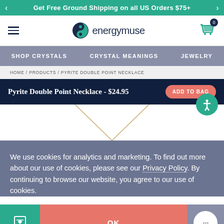Get Free Ground Shipping on all US Orders $75+
[Figure (logo): Energy Muse logo with yin-yang style circle icon and text 'energymuse']
SHOP CRYSTALS   CRYSTAL MEANINGS   JEWELRY
HOME / PRODUCTS / PYRITE DOUBLE POINT NECKLACE
Pyrite Double Point Necklace - $24.95
[Figure (photo): Pyrite Double Point Necklace product photo showing a gold chain necklace with crystal point pendant on white background]
We use cookies for analytics and marketing. To find out more about our use of cookies, please see our Privacy Policy. By continuing to browse our website, you agree to our use of cookies.
OK